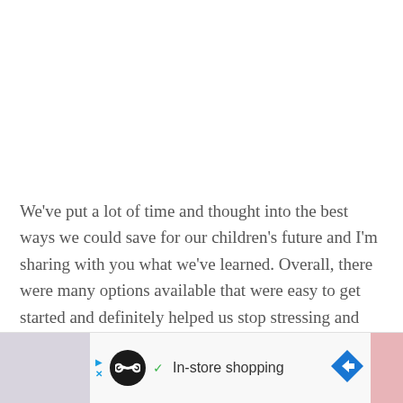We've put a lot of time and thought into the best ways we could save for our children's future and I'm sharing with you what we've learned. Overall, there were many options available that were easy to get started and definitely helped us stop stressing and
[Figure (infographic): Advertisement bar at bottom of page showing an infinity symbol logo in a black circle, a green checkmark with 'In-store shopping' text, and a blue diamond arrow navigation icon. Left side has a light purple block and right side has a light pink block.]